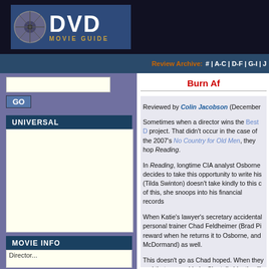[Figure (logo): DVD Movie Guide logo with film reel icon, white bold DVD text on blue background, golden MOVIE GUIDE text below]
Review Archive: # | A-C | D-F | G-I | J...
Search input and GO button
UNIVERSAL
MOVIE INFO
Director...
Burn Af...
Reviewed by Colin Jacobson (December...)

Sometimes when a director wins the Best... project. That didn't occur in the case of the... 2007's No Country for Old Men, they hop... Reading.

In Reading, longtime CIA analyst Osborne... decides to take this opportunity to write his... (Tilda Swinton) doesn't take kindly to this c... of this, she snoops into his financial records...

When Katie's lawyer's secretary accidental... personal trainer Chad Feldheimer (Brad Pi... reward when he returns it to Osborne, and ... McDormand) as well.

This doesn't go as Chad hoped. When they... and that angers Linda. She tells him they'll ... escalating conflict that eventually involves...